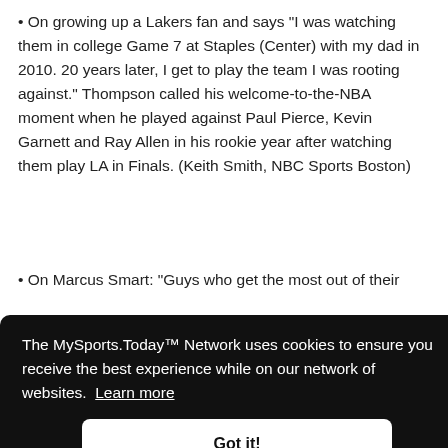• On growing up a Lakers fan and says "I was watching them in college Game 7 at Staples (Center) with my dad in 2010. 20 years later, I get to play the team I was rooting against." Thompson called his welcome-to-the-NBA moment when he played against Paul Pierce, Kevin Garnett and Ray Allen in his rookie year after watching them play LA in Finals. (Keith Smith, NBC Sports Boston)
• On Marcus Smart: "Guys who get the most out of their [partially obscured by cookie overlay]
The MySports.Today™ Network uses cookies to ensure you receive the best experience while on our network of websites. Learn more
Got it!
• Does Klay think of himself as one of the old heads on [partially visible]